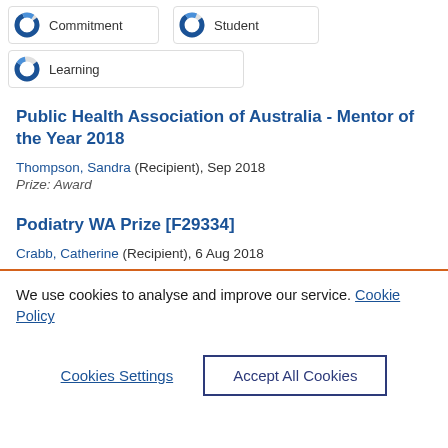[Figure (donut-chart): Partial donut chart icon next to 'Commitment' label]
[Figure (donut-chart): Partial donut chart icon next to 'Student' label]
[Figure (donut-chart): Partial donut chart icon next to 'Learning' label]
Public Health Association of Australia - Mentor of the Year 2018
Thompson, Sandra (Recipient), Sep 2018
Prize: Award
Podiatry WA Prize [F29334]
Crabb, Catherine (Recipient), 6 Aug 2018
We use cookies to analyse and improve our service. Cookie Policy
Cookies Settings
Accept All Cookies